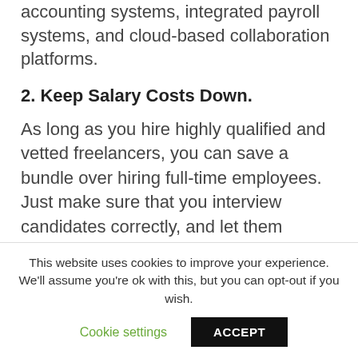accounting systems, integrated payroll systems, and cloud-based collaboration platforms.
2. Keep Salary Costs Down.
As long as you hire highly qualified and vetted freelancers, you can save a bundle over hiring full-time employees. Just make sure that you interview candidates correctly, and let them understand what’s expected. This is a lot better than hiring full-time employees, and you can save on payroll expenses as well.
This website uses cookies to improve your experience. We’ll assume you’re ok with this, but you can opt-out if you wish.
Cookie settings    ACCEPT